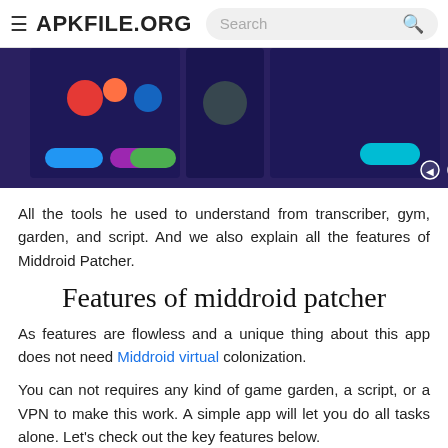APKFILE.ORG  Search
[Figure (screenshot): Mobile app screenshots showing Middroid Patcher interface with dark purple background and colored buttons]
All the tools he used to understand from transcriber, gym, garden, and script. And we also explain all the features of Middroid Patcher.
Features of middroid patcher
As features are flowless and a unique thing about this app does not need Middroid virtual colonization.
You can not requires any kind of game garden, a script, or a VPN to make this work. A simple app will let you do all tasks alone. Let's check out the key features below.
[Figure (illustration): Yellow/orange background illustration with dark circular logo mark showing a cracked circle design]